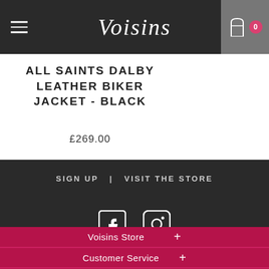Voisins — navigation header with hamburger menu, logo, and cart (0 items)
ALL SAINTS DALBY LEATHER BIKER JACKET - BLACK
£269.00
SIGN UP | VISIT THE STORE
[Figure (other): Facebook and Instagram social media icons in white on dark background]
Voisins Store +
Customer Service +
Brands +